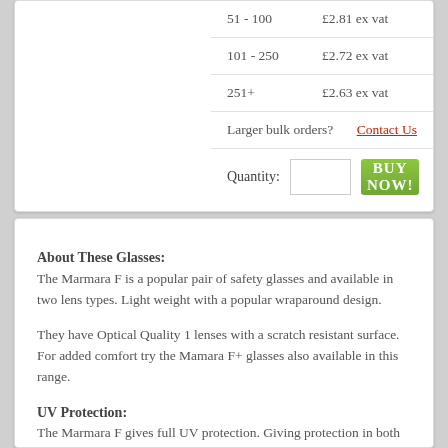| Quantity | Price |
| --- | --- |
| 51 - 100 | £2.81 ex vat |
| 101 - 250 | £2.72 ex vat |
| 251+ | £2.63 ex vat |
| Larger bulk orders? | Contact Us |
About These Glasses: The Marmara F is a popular pair of safety glasses and available in two lens types. Light weight with a popular wraparound design.
They have Optical Quality 1 lenses with a scratch resistant surface. For added comfort try the Mamara F+ glasses also available in this range.
UV Protection: The Marmara F gives full UV protection. Giving protection in both UVA and UVB light.
Lens Options: We have 2 lenses available in this frame. The clear lens for 100% optical quality 1 performance. The smoke lens for direct sunlight